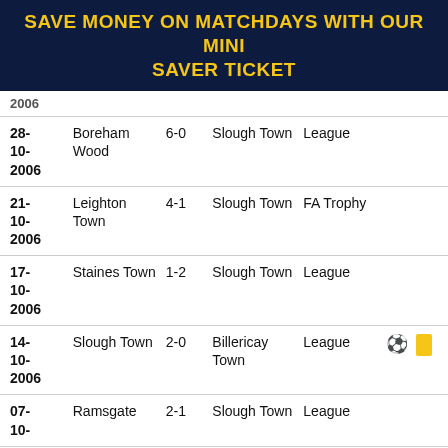SAVE MONEY ON MATCHDAYS WITH OUR MINI SAVER TICKET
| Date | Home | Score | Away | Competition | Icons |
| --- | --- | --- | --- | --- | --- |
| 2006 (partial) |  |  |  |  |  |
| 28-10-2006 | Boreham Wood | 6-0 | Slough Town | League |  |
| 21-10-2006 | Leighton Town | 4-1 | Slough Town | FA Trophy |  |
| 17-10-2006 | Staines Town | 1-2 | Slough Town | League |  |
| 14-10-2006 | Slough Town | 2-0 | Billericay Town | League | ⚽ 🟨 |
| 07-10-... | Ramsgate | 2-1 | Slough Town | League |  |